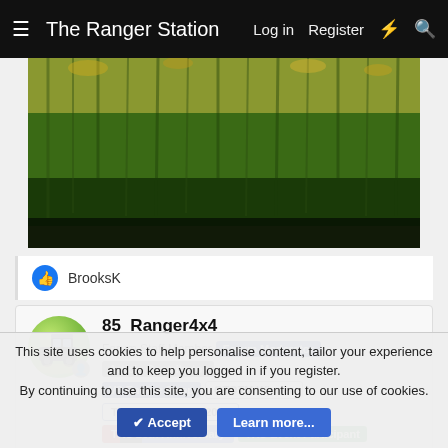☰  The Ranger Station   Log in   Register   ⚡   🔍
[Figure (photo): Forest of dense conifer trees, dark green with some yellow foliage near top, viewed from road level]
👍 BrooksK
85_Ranger4x4
Forum Staff Member  [Forum Moderator]  [Article Contributor]
[V8 Engine Swap]  [OTOTM Winner]  [TRS Banner 2010-2011]
[TRS 20th Anniversary]  [TRS Event Participant]
Aug 31, 2021   🔗  #208
This site uses cookies to help personalise content, tailor your experience and to keep you logged in if you register.
By continuing to use this site, you are consenting to our use of cookies.
✔ Accept    Learn more...